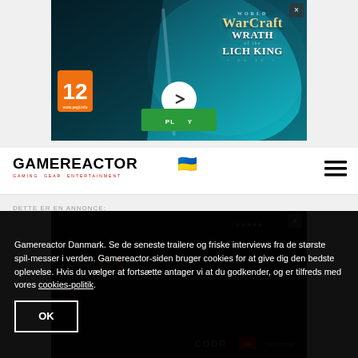[Figure (illustration): World of Warcraft: Wrath of the Lich King Classic advertisement banner with teal/blue fantasy artwork, featuring a skull and sword imagery. Shows PEGI 12 rating badge, a play button circle overlay, and a green PLAY NOW button. The WoW logo and expansion title are prominently displayed.]
[Figure (logo): Gamereactor logo with text GAMEREACTOR in bold black, subtitle GAMING GEAR ENTERTAINMENT in red, a Ukrainian flag heart emoji, and a hamburger menu icon on the right.]
DETTE ER EN ANNONCE:
[Figure (screenshot): Dark gaming advertisement screenshot showing F1 game branding and racing content. Dark background with red F1 logo visible.]
Gamereactor Danmark. Se de seneste trailere og friske interviews fra de største spil-messer i verden. Gamereactor-siden bruger cookies for at give dig den bedste oplevelse. Hvis du vælger at fortsætte antager vi at du godkender, og er tilfreds med vores cookies-politik.
OK